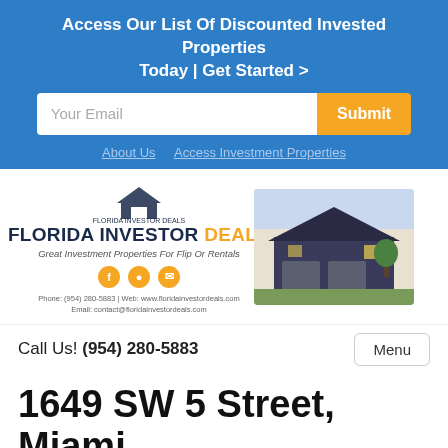Access Our List Of Discounted Invested Properties Today | Get Started >
[Figure (screenshot): Email input field with placeholder 'Your Email' and orange 'Submit' button]
About Us   Access Investment Properties
[Figure (logo): Florida Investor Deals logo card with brand name, tagline 'Great Investment Properties For Flip Or Rentals', social icons, and contact info, alongside photo of a house]
Call Us! (954) 280-5883
Menu
1649 SW 5 Street, Miami,